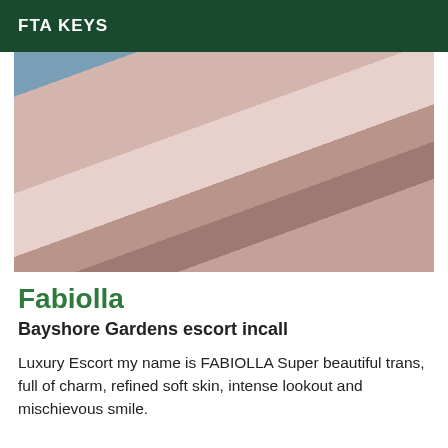FTA KEYS
[Figure (photo): A person lying on a bed with a pink/mauve knit blanket, wearing white lace lingerie, on white bedding with a wooden floor visible in the background.]
Fabiolla
Bayshore Gardens escort incall
Luxury Escort my name is FABIOLLA Super beautiful trans, full of charm, refined soft skin, intense lookout and mischievous smile.